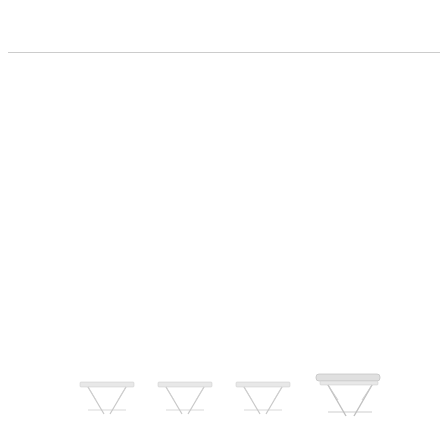[Figure (illustration): A horizontal rule/divider line near the top of the page, followed by a large white space, and at the bottom four small furniture table/desk illustrations (side tables with X-frame legs) shown in a row, with the rightmost one slightly larger and having a rounded top surface.]